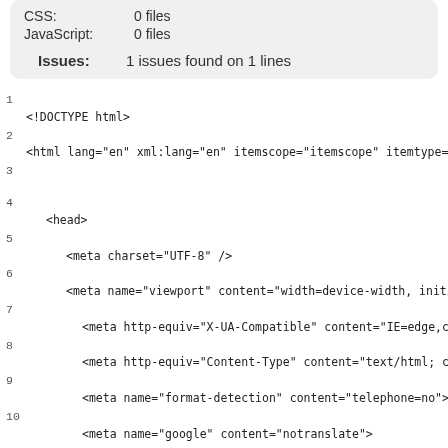| Type | Count |
| --- | --- |
| CSS: | 0 files |
| JavaScript: | 0 files |
Issues: 1 issues found on 1 lines
1
<!DOCTYPE html>
2
<html lang="en" xml:lang="en" itemscope="itemscope" itemtype="http:/
3

4
    <head>
5
        <meta charset="UTF-8" />
6
        <meta name="viewport" content="width=device-width, initial-s
7
            <meta http-equiv="X-UA-Compatible" content="IE=edge,chrome
8
            <meta http-equiv="Content-Type" content="text/html; charse
9
            <meta name="format-detection" content="telephone=no">
10
            <meta name="google" content="notranslate">
11
            <meta http-equiv="Content-Language" content="en">
12
        <title itemprop="name">
13
        NSG   &#8211;  Testimonials       </title>
14

15